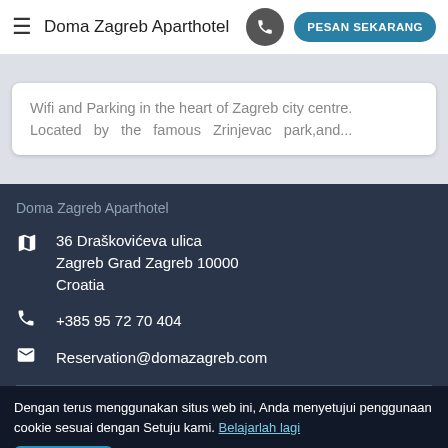Doma Zagreb Aparthotel | PESAN SEKARANG
Wifi and Parking in the heart of Zagreb city centre. Located by the famous Zrinjevac park,and...
Doma Zagreb Aparthotel
36 Draškovićeva ulica Zagreb Grad Zagreb 10000 Croatia
+385 95 72 70 404
Reservation@domazagreb.com
Dengan terus menggunakan situs web ini, Anda menyetujui penggunaan cookie sesuai dengan Setuju kami. Belajarlah lagi
Setuju